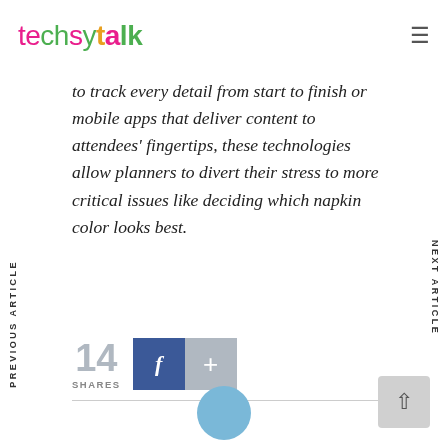techsytalk
to track every detail from start to finish or mobile apps that deliver content to attendees' fingertips, these technologies allow planners to divert their stress to more critical issues like deciding which napkin color looks best.
14 SHARES
PREVIOUS ARTICLE
NEXT ARTICLE